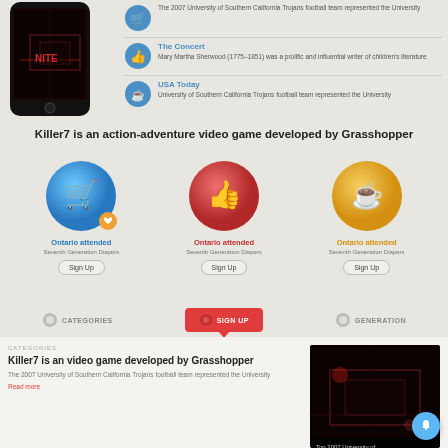[Figure (screenshot): Mobile phone showing a dark game screenshot (Killer7 UI)]
The 2007 University of Southern California Trojans football team represented the University
The Concert - Mary Martha Sherwood (1775–1851) was a prolific and influential writer of children's literature
USA Today - University of Southern California Trojans football team represented the University
Killer7 is an action-adventure video game developed by Grasshopper
[Figure (infographic): Three circular icon cards: blue shopping cart (Ontario attended / Seventh Generation Diapers / Sign Up), red thumbs up (Ontario attended / Seventh Generation Diapers / Sign Up), yellow coffee cup (Ontario attended / Seventh Generation Diapers / Sign Up)]
[Figure (infographic): Navigation bar with CATEGORIES, SIGN UP (active/red), and GENERATION tabs]
CATEGORIES
Killer7 is an video game developed by Grasshopper
The 2007 University of Southern California Trojans football team represented the University
Read more
[Figure (screenshot): Dark game screenshot (Killer7) with caption text 'Top 2007 University of...']